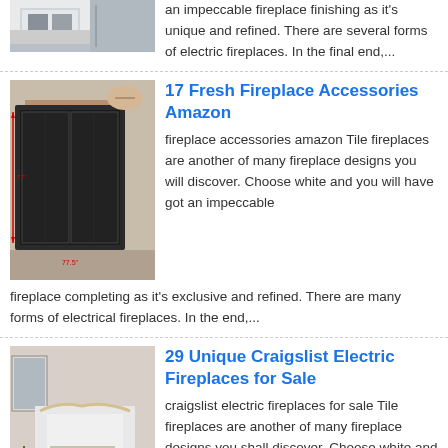[Figure (photo): Partial top image showing a fireplace/room interior]
an impeccable fireplace finishing as it's unique and refined. There are several forms of electric fireplaces. In the final end,...
[Figure (photo): Fireplace screen/door accessories product image with measurement arrows]
17 Fresh Fireplace Accessories Amazon
fireplace accessories amazon Tile fireplaces are another of many fireplace designs you will discover. Choose white and you will have got an impeccable fireplace completing as it's exclusive and refined. There are many forms of electrical fireplaces. In the end,...
[Figure (photo): Living room with white electric fireplace mantel and decorations]
29 Unique Craigslist Electric Fireplaces for Sale
craigslist electric fireplaces for sale Tile fireplaces are another of many fireplace designs you shall discover. Choose white and you'll have an impeccable fireplace